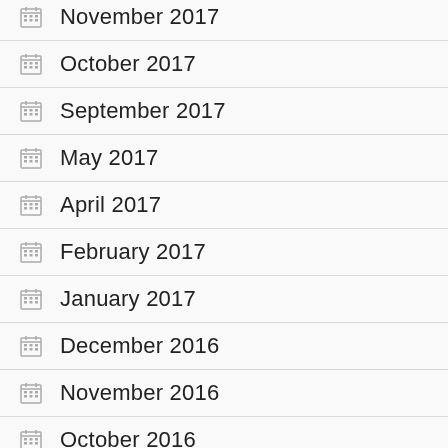November 2017
October 2017
September 2017
May 2017
April 2017
February 2017
January 2017
December 2016
November 2016
October 2016